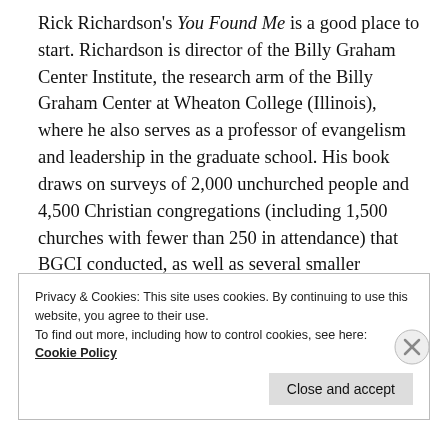Rick Richardson's You Found Me is a good place to start. Richardson is director of the Billy Graham Center Institute, the research arm of the Billy Graham Center at Wheaton College (Illinois), where he also serves as a professor of evangelism and leadership in the graduate school. His book draws on surveys of 2,000 unchurched people and 4,500 Christian congregations (including 1,500 churches with fewer than 250 in attendance) that BGCI conducted, as well as several smaller research projects.
Privacy & Cookies: This site uses cookies. By continuing to use this website, you agree to their use.
To find out more, including how to control cookies, see here:
Cookie Policy
Close and accept